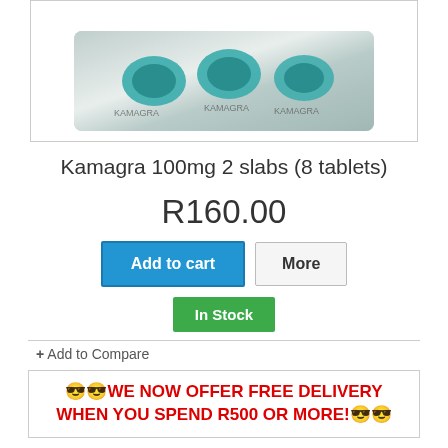[Figure (photo): Kamagra 100mg blister pack with teal/green tablets visible through foil packaging]
Kamagra 100mg 2 slabs (8 tablets)
R160.00
Add to cart | More
In Stock
+ Add to Compare
😎😎WE NOW OFFER FREE DELIVERY WHEN YOU SPEND R500 OR MORE!😎😎